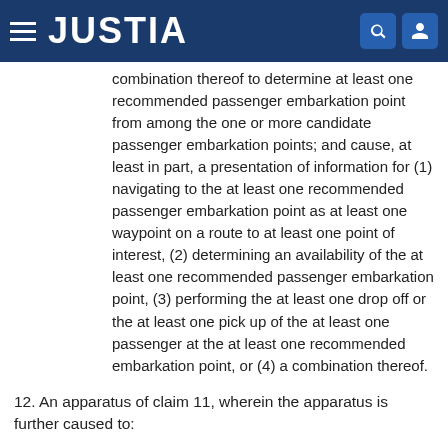JUSTIA
combination thereof to determine at least one recommended passenger embarkation point from among the one or more candidate passenger embarkation points; and cause, at least in part, a presentation of information for (1) navigating to the at least one recommended passenger embarkation point as at least one waypoint on a route to at least one point of interest, (2) determining an availability of the at least one recommended passenger embarkation point, (3) performing the at least one drop off or the at least one pick up of the at least one passenger at the at least one recommended embarkation point, or (4) a combination thereof.
12. An apparatus of claim 11, wherein the apparatus is further caused to: